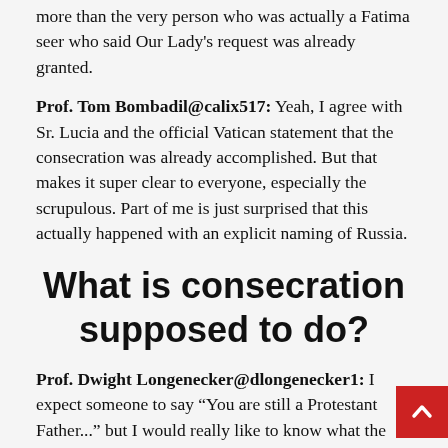more than the very person who was actually a Fatima seer who said Our Lady’s request was already granted.
Prof. Tom Bombadil@calix517: Yeah, I agree with Sr. Lucia and the official Vatican statement that the consecration was already accomplished. But that makes it super clear to everyone, especially the scrupulous. Part of me is just surprised that this actually happened with an explicit naming of Russia.
What is consecration supposed to do?
Prof. Dwight Longenecker@dlongenecker1: I expect someone to say “You are still a Protestant Father...” but I would really like to know what the Pope’s consecration is supposed to do if it “works”. What is the expectation? The conversion of Russia?